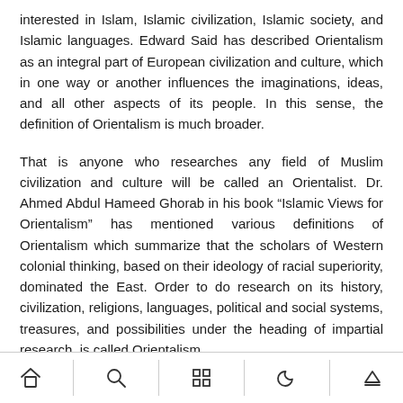interested in Islam, Islamic civilization, Islamic society, and Islamic languages. Edward Said has described Orientalism as an integral part of European civilization and culture, which in one way or another influences the imaginations, ideas, and all other aspects of its people. In this sense, the definition of Orientalism is much broader.
That is anyone who researches any field of Muslim civilization and culture will be called an Orientalist. Dr. Ahmed Abdul Hameed Ghorab in his book “Islamic Views for Orientalism” has mentioned various definitions of Orientalism which summarize that the scholars of Western colonial thinking, based on their ideology of racial superiority, dominated the East. Order to do research on its history, civilization, religions, languages, political and social systems, treasures, and possibilities under the heading of impartial research, is called Orientalism.
The result of the Orientalist definitions is that the Western
navigation bar icons